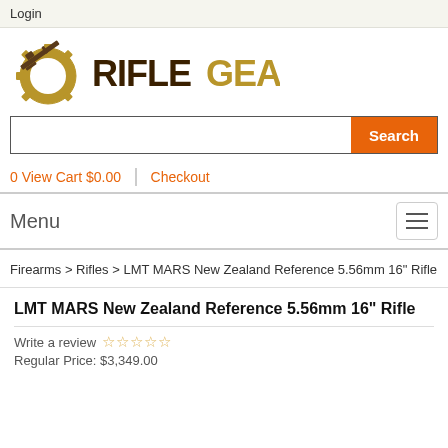Login
[Figure (logo): RifleGear logo with rifle and gear icon]
Search
0 View Cart $0.00 | Checkout
Menu
Firearms > Rifles > LMT MARS New Zealand Reference 5.56mm 16" Rifle
LMT MARS New Zealand Reference 5.56mm 16" Rifle
Write a review ☆☆☆☆☆
Regular Price: $3,349.00